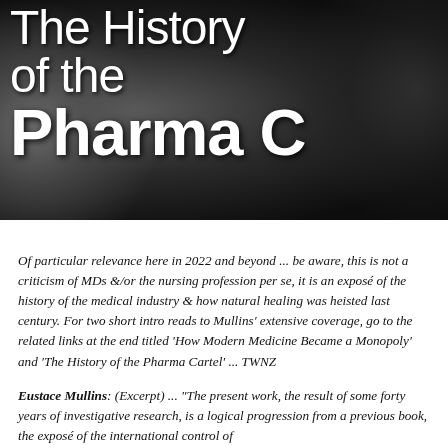[Figure (photo): Dark black-and-white background photo with large white text overlay reading 'The History of the Pharma C[artel]' (partially cropped). Text is in a sans-serif font, with 'Pharma C' in bold heavy weight.]
Of particular relevance here in 2022 and beyond ... be aware, this is not a criticism of MDs &/or the nursing profession per se, it is an exposé of the history of the medical industry & how natural healing was heisted last century. For two short intro reads to Mullins' extensive coverage, go to the related links at the end titled 'How Modern Medicine Became a Monopoly' and 'The History of the Pharma Cartel' ... TWNZ
Eustace Mullins: (Excerpt) ... "The present work, the result of some forty years of investigative research, is a logical progression from a previous book, the expose of the international control of